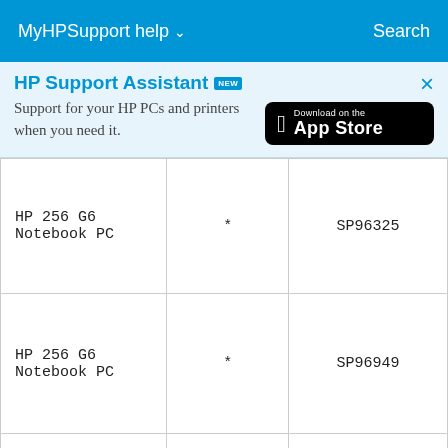MyHPSupport help ∨    Search
[Figure (screenshot): HP Support Assistant banner with NEW badge, App Store download button, text 'Support for your HP PCs and printers when you need it.' and close X button]
| HP 256 G6 Notebook PC | * | SP96325 |
| HP 256 G6 Notebook PC | * | SP96949 |
| HP 256 G7 | * | SP96686 |